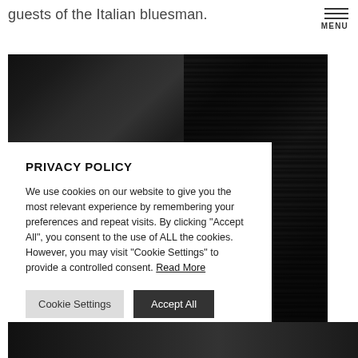guests of the Italian bluesman.
[Figure (photo): Black and white concert/music photo with dark background and patterned curtain or backdrop on the right side]
PRIVACY POLICY
We use cookies on our website to give you the most relevant experience by remembering your preferences and repeat visits. By clicking "Accept All", you consent to the use of ALL the cookies. However, you may visit "Cookie Settings" to provide a controlled consent. Read More
Cookie Settings
Accept All
[Figure (photo): Black and white photo strip at the bottom of the page]